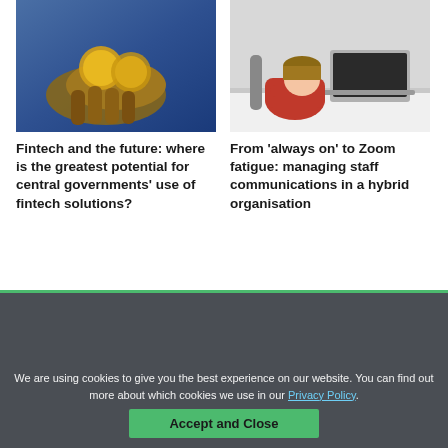[Figure (photo): Hands holding gold coins/currency against a blue background]
[Figure (photo): Person in red top sitting at a desk with a laptop, head resting on hand]
Fintech and the future: where is the greatest potential for central governments' use of fintech solutions?
From 'always on' to Zoom fatigue: managing staff communications in a hybrid organisation
General
We are using cookies to give you the best experience on our website. You can find out more about which cookies we use in our Privacy Policy.
Accept and Close